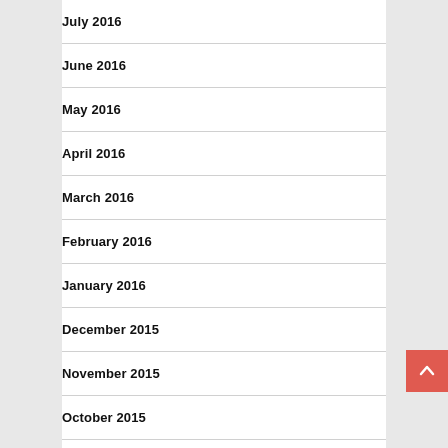July 2016
June 2016
May 2016
April 2016
March 2016
February 2016
January 2016
December 2015
November 2015
October 2015
September 2015